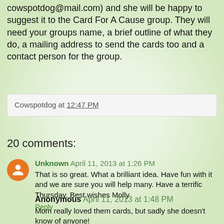cowspotdog@mail.com) and she will be happy to suggest it to the Card For A Cause group. They will need your groups name, a brief outline of what they do, a mailing address to send the cards too and a contact person for the group.
Cowspotdog at 12:47 PM
20 comments:
Unknown April 11, 2013 at 1:26 PM
That is so great. What a brilliant idea. Have fun with it and we are sure you will help many. Have a terrific Thursday. Best wishes Molly
Reply
Anonymous April 11, 2013 at 1:48 PM
Mom really loved them cards, but sadly she doesn't know of anyone!